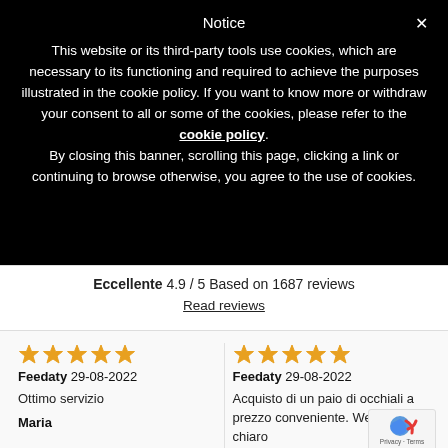Notice
This website or its third-party tools use cookies, which are necessary to its functioning and required to achieve the purposes illustrated in the cookie policy. If you want to know more or withdraw your consent to all or some of the cookies, please refer to the cookie policy.
By closing this banner, scrolling this page, clicking a link or continuing to browse otherwise, you agree to the use of cookies.
Eccellente 4.9 / 5 Based on 1687 reviews
Read reviews
Feedaty 29-08-2022
Ottimo servizio
Maria
Feedaty 29-08-2022
Acquisto di un paio di occhiali a prezzo conveniente. Website chiaro